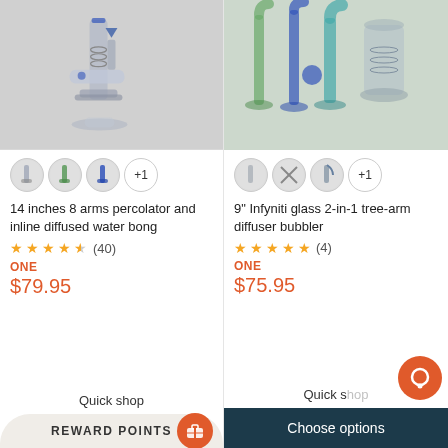[Figure (photo): 14 inches 8 arms percolator and inline diffused water bong product photo on white/grey background]
[Figure (photo): Swatch thumbnails for color variants of water bong (clear, green, blue) plus +1 option]
14 inches 8 arms percolator and inline diffused water bong
★★★★½ (40)
ONE
$79.95
Quick shop
REWARD POINTS
[Figure (photo): 9 inch Infyniti glass 2-in-1 tree-arm diffuser bubbler product photo showing multiple glass pieces]
[Figure (photo): Swatch thumbnails for color variants of bubbler plus +1 option]
9" Infyniti glass 2-in-1 tree-arm diffuser bubbler
★★★★★ (4)
ONE
$75.95
Quick shop
Choose options